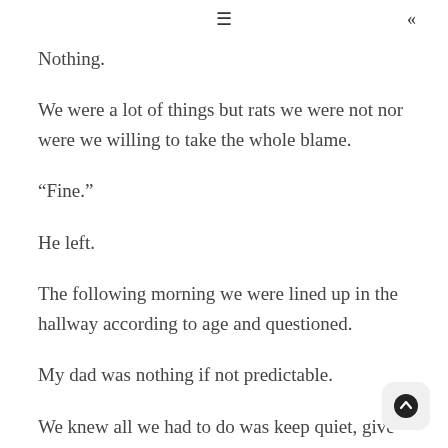≡  «
Nothing.
We were a lot of things but rats we were not nor were we willing to take the whole blame.
“Fine.”
He left.
The following morning we were lined up in the hallway according to age and questioned.
My dad was nothing if not predictable.
We knew all we had to do was keep quiet, give